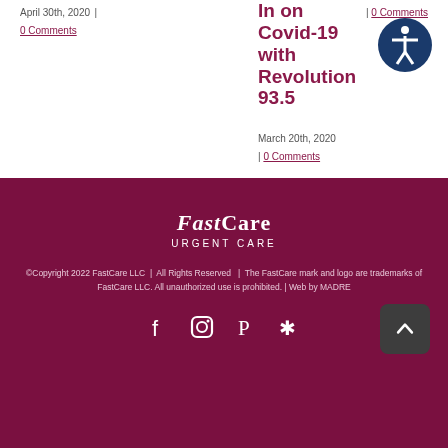April 30th, 2020 | 0 Comments
In on Covid-19 with Revolution 93.5
March 20th, 2020 | 0 Comments
0 Comments
[Figure (logo): Accessibility icon — white figure in circle on dark blue background]
[Figure (logo): FastCare Urgent Care logo in white text on dark red background]
©Copyright 2022 FastCare LLC | All Rights Reserved | The FastCare mark and logo are trademarks of FastCare LLC. All unauthorized use is prohibited. | Web by MADRE
[Figure (infographic): Social media icons: Facebook, Instagram, Pinterest, Yelp on dark red background, with back-to-top button]